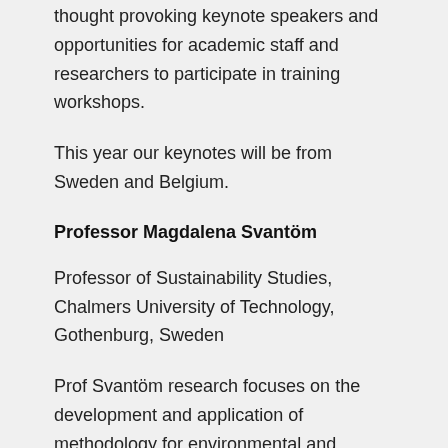thought provoking keynote speakers and opportunities for academic staff and researchers to participate in training workshops.
This year our keynotes will be from Sweden and Belgium.
Professor Magdalena Svantöm
Professor of Sustainability Studies, Chalmers University of Technology,
Gothenburg, Sweden
Prof Svantöm research focuses on the development and application of methodology for environmental and sustainability assessment for products and processes, mostly life cycle assessment, and often with the purpose